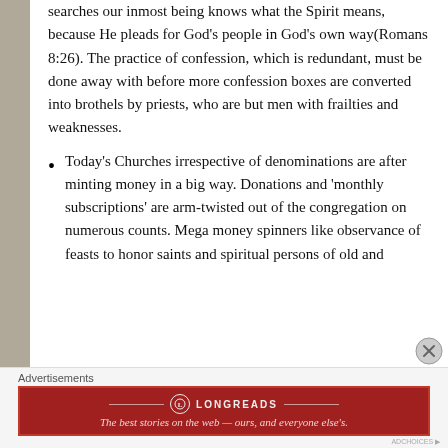searches our inmost being knows what the Spirit means, because He pleads for God's people in God's own way(Romans 8:26). The practice of confession, which is redundant, must be done away with before more confession boxes are converted into brothels by priests, who are but men with frailties and weaknesses.
Today's Churches irrespective of denominations are after minting money in a big way. Donations and 'monthly subscriptions' are arm-twisted out of the congregation on numerous counts. Mega money spinners like observance of feasts to honor saints and spiritual persons of old and
Advertisements
[Figure (other): Longreads advertisement banner: red background with Longreads logo and tagline 'The best stories on the web — ours, and everyone else's.']